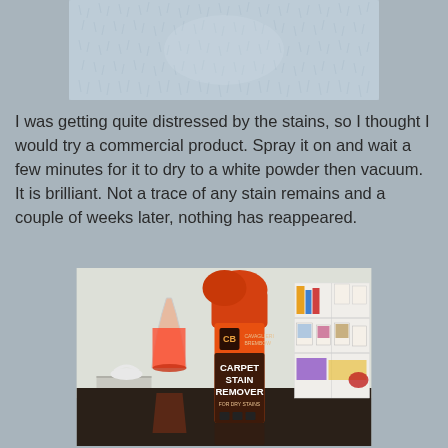[Figure (photo): Close-up photo of carpet/fabric texture with a blue-grey color, showing a clean area after stain removal treatment.]
I was getting quite distressed by the stains, so I thought I would try a commercial product. Spray it on and wait a few minutes for it to dry to a white powder then vacuum. It is brilliant. Not a trace of any stain remains and a couple of weeks later, nothing has reappeared.
[Figure (photo): Photo of a Carpet Stain Remover product (Cavaglieri Brembow brand) with an orange cap and brown label, sitting on a reflective dark surface next to a glass vase with orange/red content, with a white shelving unit visible in the background containing books and photos.]